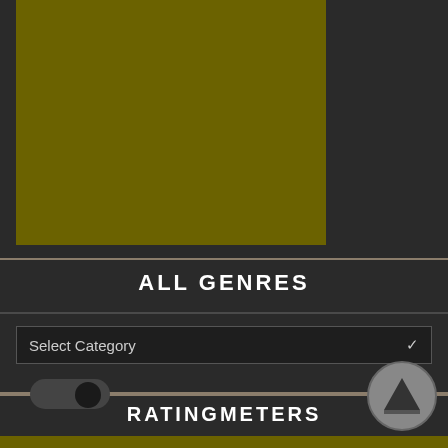[Figure (other): Olive/dark yellow-green colored rectangle representing album art or image placeholder]
ALL GENRES
[Figure (other): Dropdown selector labeled 'Select Category' with chevron arrow on right]
[Figure (other): Horizontal slider track with sun icon and dark toggle circle, representing brightness or mode toggle]
RATINGMETERS
[Figure (other): Circular button with upward triangle/arrow icon (scroll to top or back button)]